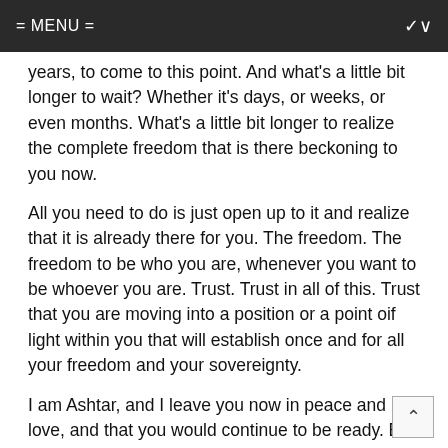= MENU =
years, to come to this point. And what's a little bit longer to wait? Whether it's days, or weeks, or even months. What's a little bit longer to realize the complete freedom that is there beckoning to you now.
All you need to do is just open up to it and realize that it is already there for you. The freedom. The freedom to be who you are, whenever you want to be whoever you are. Trust. Trust in all of this. Trust that you are moving into a position or a point oif light within you that will establish once and for all your freedom and your sovereignty.
I am Ashtar, and I leave you now in peace and love, and that you would continue to be ready. Be ready to experience the connection with all of us, all of your brothers and sisters, that are here now and ready at a moment's notice to be there with you more fully.